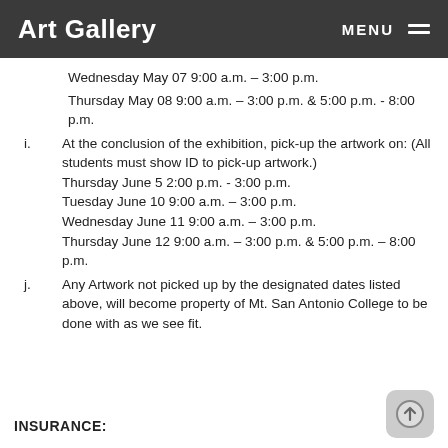Art Gallery | MENU
Wednesday May 07 9:00 a.m. – 3:00 p.m.
Thursday May 08 9:00 a.m. – 3:00 p.m. & 5:00 p.m. - 8:00 p.m.
i. At the conclusion of the exhibition, pick-up the artwork on: (All students must show ID to pick-up artwork.) Thursday June 5 2:00 p.m. - 3:00 p.m. Tuesday June 10 9:00 a.m. – 3:00 p.m. Wednesday June 11 9:00 a.m. – 3:00 p.m. Thursday June 12 9:00 a.m. – 3:00 p.m. & 5:00 p.m. – 8:00 p.m.
j. Any Artwork not picked up by the designated dates listed above, will become property of Mt. San Antonio College to be done with as we see fit.
INSURANCE: